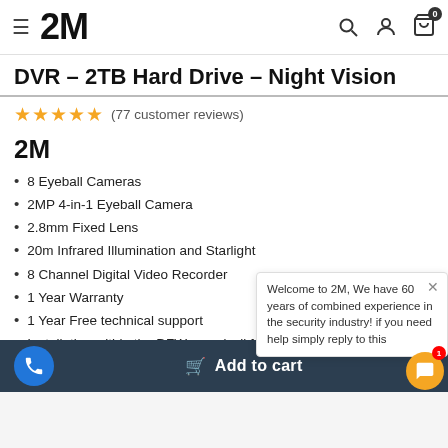2M
DVR – 2TB Hard Drive – Night Vision
★★★★★ (77 customer reviews)
[Figure (logo): 2M brand logo in bold black text]
8 Eyeball Cameras
2MP 4-in-1 Eyeball Camera
2.8mm Fixed Lens
20m Infrared Illumination and Starlight
8 Channel Digital Video Recorder
1 Year Warranty
1 Year Free technical support
Installation within the DFW area (call for a quo…
Free Shipping
Welcome to 2M, We have 60 years of combined experience in the security industry! if you need help simply reply to this
Add to cart